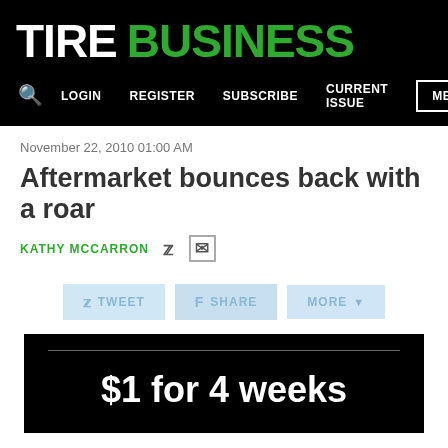Tire Business
LOGIN  REGISTER  SUBSCRIBE  CURRENT ISSUE  MENU
November 22, 2010 01:00 AM
Aftermarket bounces back with a roar
KATHY MCCARRON
TWEET  SHARE  MORE
$1 for 4 weeks